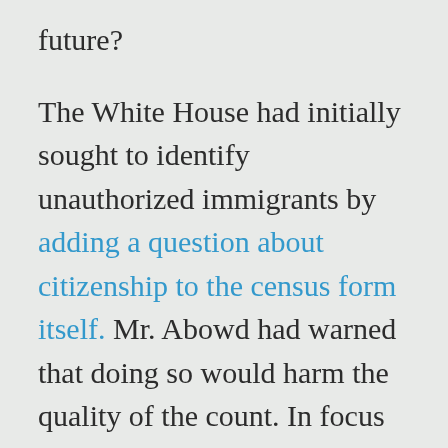future?
The White House had initially sought to identify unauthorized immigrants by adding a question about citizenship to the census form itself. Mr. Abowd had warned that doing so would harm the quality of the count. In focus groups the bureau conducted, people in various